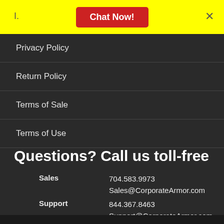[Figure (screenshot): Yellow bar with 'I.' label, red 'Chat Now!' button, and close X button]
Privacy Policy
Return Policy
Terms of Sale
Terms of Use
Questions? Call us toll-free
Sales	704.583.9973
Sales@CorporateArmor.com
Support	844.367.8463
Support@CorporateArmor.com
Hours	Mon - Fri 8AM - 6PM EST
Fax	704.583.9968